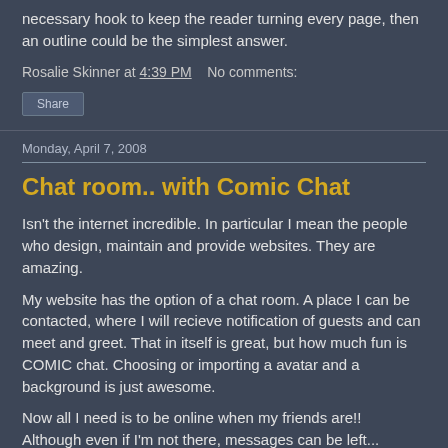necessary hook to keep the reader turning every page, then an outline could be the simplest answer.
Rosalie Skinner at 4:39 PM    No comments:
Share
Monday, April 7, 2008
Chat room.. with Comic Chat
Isn't the internet incredible. In particular I mean the people who design, maintain and provide websites. They are amazing.
My website has the option of a chat room. A place I can be contacted, where I will recieve notification of guests and can meet and greet. That in itself is great, but how much fun is COMIC chat. Choosing or importing a avatar and a background is just awesome.
Now all I need is to be online when my friends are!! Although even if I'm not there, messages can be left...